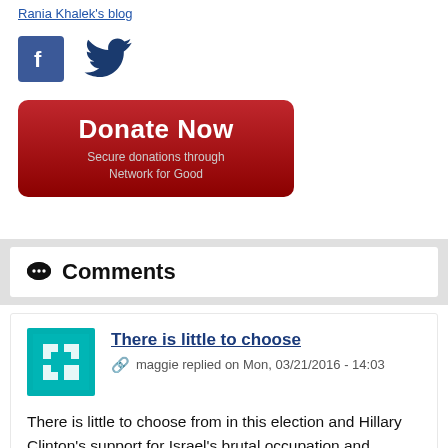Rania Khalek's blog
[Figure (logo): Facebook logo icon (blue square with white F) and Twitter bird icon (dark blue)]
[Figure (illustration): Donate Now button - dark red/crimson rounded rectangle with white text 'Donate Now' and subtitle 'Secure donations through Network for Good']
Comments
There is little to choose
maggie replied on Mon, 03/21/2016 - 14:03
There is little to choose from in this election and Hillary Clinton's support for Israel's brutal occupation and oppression of the Palestinians is a major stumbling block for all of those who resent our politicians pandering to the small but powerful AIPAC influence on our country's foreign policy. There was a